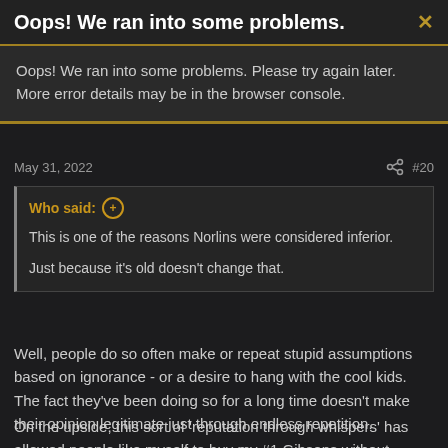Oops! We ran into some problems.
Oops! We ran into some problems. Please try again later. More error details may be in the browser console.
May 31, 2022   #20
Who said: ⊕
This is one of the reasons Norlins were considered inferior.
Just because it's old doesn't change that.
Well, people do so often make or repeat stupid assumptions based on ignorance - or a desire to hang with the cool kids.
The fact they've been doing so for a long time doesn't make their opinion legitimate just through endless repetition.
On the upside, this sort of 'reputation through whispers' has allowed people like myself to buy my #1 Gibsons without spending a lot of